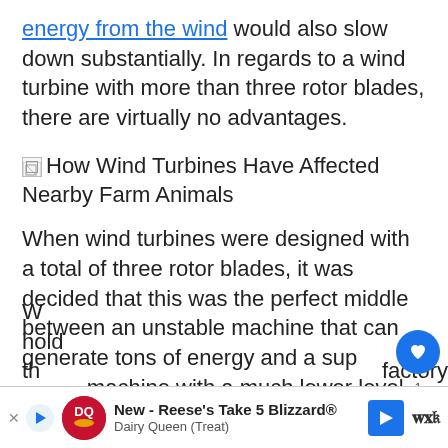energy from the wind would also slow down substantially. In regards to a wind turbine with more than three rotor blades, there are virtually no advantages.
How Wind Turbines Have Affected Nearby Farm Animals
When wind turbines were designed with a total of three rotor blades, it was decided that this was the perfect middle between an unstable machine that can generate tons of energy and a super stable machine with a much lower level of efficiency.
Wind turbines with three blades are able to hold the... factory
[Figure (infographic): Social bar with heart/like button (blue circle), share count of 1, share icon button, and a 'What's Next' box showing a wind turbine image with text 'WHAT'S NEXT -> How Far Apart Do Wind...']
[Figure (infographic): Advertisement bar at bottom: DQ (Dairy Queen) ad with logo, text 'New - Reese's Take 5 Blizzard® Dairy Queen (Treat)', blue arrow button, and W icon]